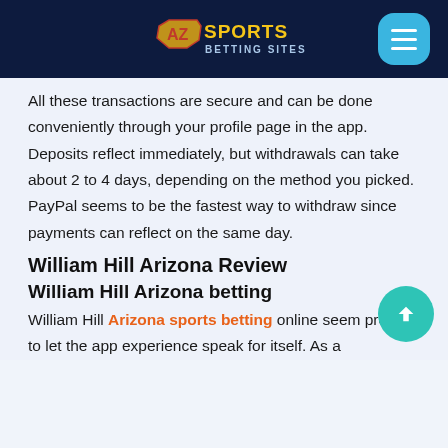AZ Sports Betting Sites
All these transactions are secure and can be done conveniently through your profile page in the app. Deposits reflect immediately, but withdrawals can take about 2 to 4 days, depending on the method you picked. PayPal seems to be the fastest way to withdraw since payments can reflect on the same day.
William Hill Arizona Review
William Hill Arizona betting
William Hill Arizona sports betting online seem prefer to let the app experience speak for itself. As a